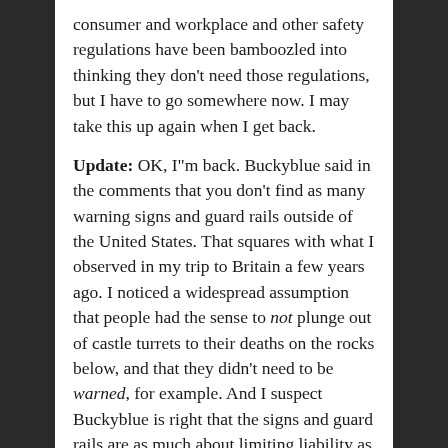consumer and workplace and other safety regulations have been bamboozled into thinking they don't need those regulations, but I have to go somewhere now. I may take this up again when I get back.
Update: OK, I"m back. Buckyblue said in the comments that you don't find as many warning signs and guard rails outside of the United States. That squares with what I observed in my trip to Britain a few years ago. I noticed a widespread assumption that people had the sense to not plunge out of castle turrets to their deaths on the rocks below, and that they didn't need to be warned, for example. And I suspect Buckyblue is right that the signs and guard rails are as much about limiting liability as anything else.